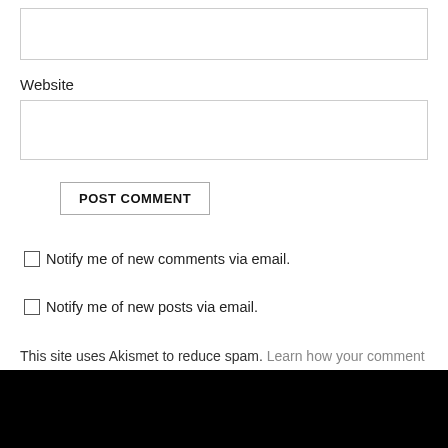(empty input box at top)
Website
(Website input box)
POST COMMENT
Notify me of new comments via email.
Notify me of new posts via email.
This site uses Akismet to reduce spam. Learn how your comment data is processed.